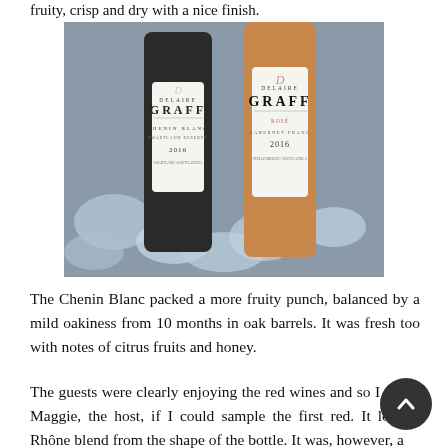fruity, crisp and dry with a nice finish.
[Figure (photo): Two bottles of Delaire Graff wine chilling in ice — one Chenin Blanc Swartland Reserve and one Rosé Cabernet Franc 2016, side by side.]
The Chenin Blanc packed a more fruity punch, balanced by a mild oakiness from 10 months in oak barrels. It was fresh too with notes of citrus fruits and honey.
The guests were clearly enjoying the red wines and so I asked Maggie, the host, if I could sample the first red. It looked like a Rhône blend from the shape of the bottle. It was, however, a